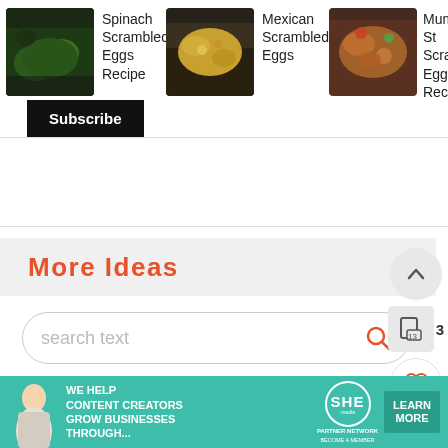[Figure (screenshot): Recipe card strip showing Spinach Scrambled Eggs Recipe, Mexican Scrambled Eggs, and Mumbai Style Scrambled Eggs Recipe with thumbnail images]
Spinach Scrambled Eggs Recipe
Mexican Scrambled Eggs
Mumbai Style Scrambled Eggs Recipe
Subscribe
More Ideas
search text
[Figure (screenshot): Floating action buttons on right: up arrow, save/bookmark (13), heart/favorite, orange search button, and X close button]
[Figure (screenshot): Banner advertisement: WE HELP CONTENT CREATORS GROW BUSINESSES THROUGH... SHE PARTNER NETWORK BECOME A MEMBER LEARN MORE]